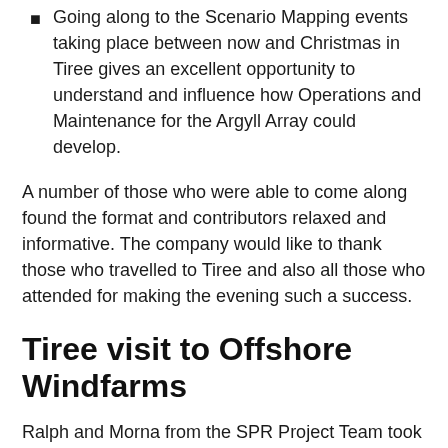Going along to the Scenario Mapping events taking place between now and Christmas in Tiree gives an excellent opportunity to understand and influence how Operations and Maintenance for the Argyll Array could develop.
A number of those who were able to come along found the format and contributors relaxed and informative. The company would like to thank those who travelled to Tiree and also all those who attended for making the evening such a success.
Tiree visit to Offshore Windfarms
Ralph and Morna from the SPR Project Team took four visitors from Tiree to view offshore windfarms from Barrow-in-Furness in north west England on the 26th